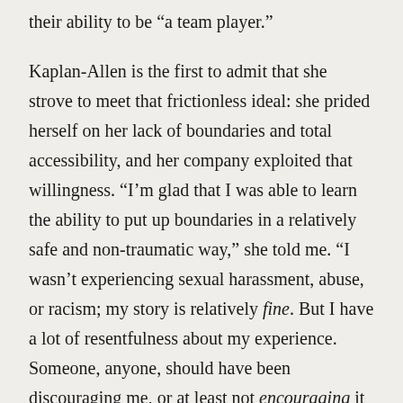their ability to be “a team player.”
Kaplan-Allen is the first to admit that she strove to meet that frictionless ideal: she prided herself on her lack of boundaries and total accessibility, and her company exploited that willingness. “I’m glad that I was able to learn the ability to put up boundaries in a relatively safe and non-traumatic way,” she told me. “I wasn’t experiencing sexual harassment, abuse, or racism; my story is relatively fine. But I have a lot of resentfulness about my experience. Someone, anyone, should have been discouraging me, or at least not encouraging it — but of course no one did, because it’s the benefit of the company when you behave that way.”
Today, she thinks there’s growing awareness across